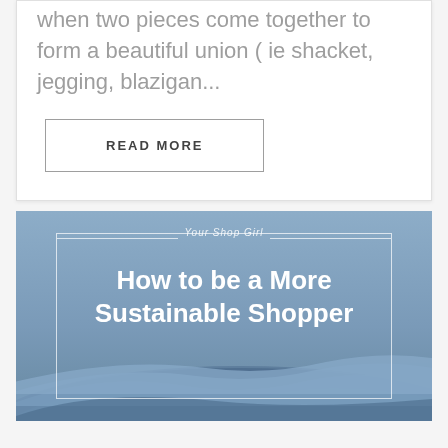when two pieces come together to form a beautiful union ( ie shacket, jegging, blazigan...
READ MORE
[Figure (illustration): Blog post card image with blue denim fabric folded at bottom, blue-gray gradient background, decorative white border frame, small italic text 'Your Shop Girl' at top, and bold white heading 'How to be a More Sustainable Shopper']